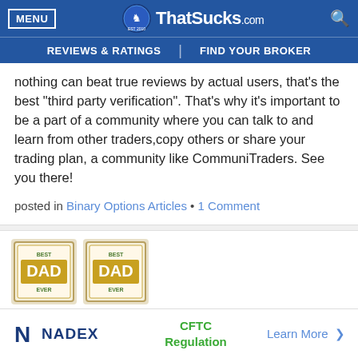MENU | ThatSucks.com | REVIEWS & RATINGS | FIND YOUR BROKER
nothing can beat true reviews by actual users, that’s the best “third party verification”. That’s why it’s important to be a part of a community where you can talk to and learn from other traders,copy others or share your trading plan, a community like CommuniTraders. See you there!
posted in Binary Options Articles • 1 Comment
[Figure (photo): Two 'Best Dad Ever' badge/award images side by side]
NADEX | CFTC Regulation | Learn More >